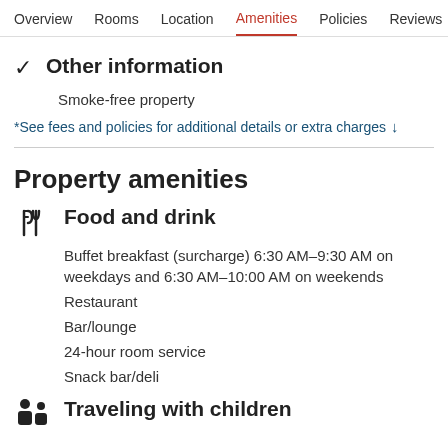Overview  Rooms  Location  Amenities  Policies  Reviews
Other information
Smoke-free property
*See fees and policies for additional details or extra charges
Property amenities
Food and drink
Buffet breakfast (surcharge) 6:30 AM–9:30 AM on weekdays and 6:30 AM–10:00 AM on weekends
Restaurant
Bar/lounge
24-hour room service
Snack bar/deli
Traveling with children